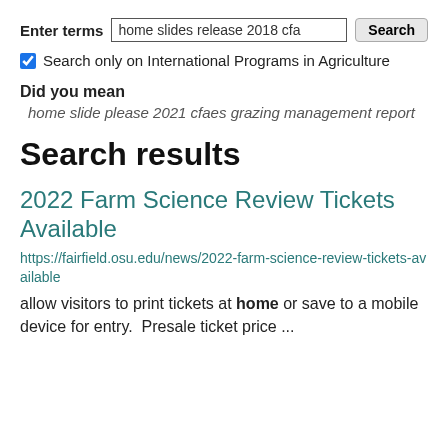Enter terms  home slides release 2018 cfa  Search
Search only on International Programs in Agriculture
Did you mean
home slide please 2021 cfaes grazing management report
Search results
2022 Farm Science Review Tickets Available
https://fairfield.osu.edu/news/2022-farm-science-review-tickets-available
allow visitors to print tickets at home or save to a mobile device for entry.  Presale ticket price ...